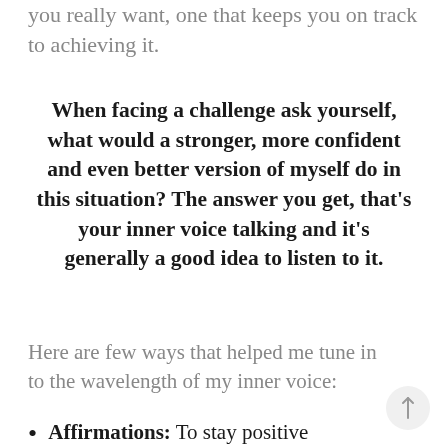you really want, one that keeps you on track to achieving it.
When facing a challenge ask yourself, what would a stronger, more confident and even better version of myself do in this situation? The answer you get, that's your inner voice talking and it's generally a good idea to listen to it.
Here are few ways that helped me tune in to the wavelength of my inner voice:
Affirmations: To stay positive